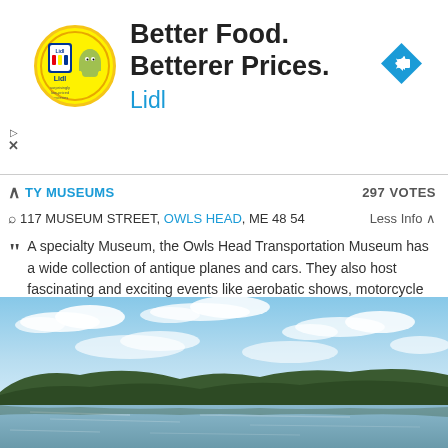[Figure (logo): Lidl advertisement banner with yellow logo, text 'Better Food. Betterer Prices.' and 'Lidl' in blue, with a blue diamond navigation arrow icon]
297 VOTES
TY MUSEUMS
117 MUSEUM STREET, OWLS HEAD, ME 4854
Less Info ∧
A specialty Museum, the Owls Head Transportation Museum has a wide collection of antique planes and cars. They also host fascinating and exciting events like aerobatic shows, motorcycle exhibits and special edition cars.
[Figure (photo): Landscape photo showing a calm lake or bay with reflections, forested hills in the background, and a partly cloudy blue sky]